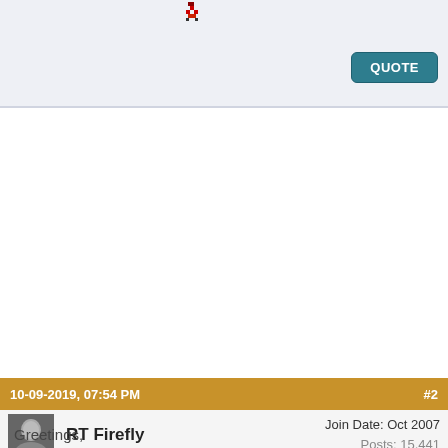[Figure (screenshot): Top section of a forum post with light blue-gray background and a pixel art icon near the top, with a QUOTE button on the right]
QUOTE
10-09-2019, 07:54 PM  #2
RT Firefly  Join Date: Oct 2007  Posts: 15,441
Greetings,